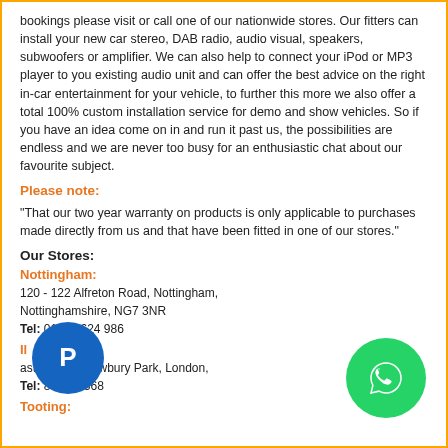bookings please visit or call one of our nationwide stores. Our fitters can install your new car stereo, DAB radio, audio visual, speakers, subwoofers or amplifier. We can also help to connect your iPod or MP3 player to you existing audio unit and can offer the best advice on the right in-car entertainment for your vehicle, to further this more we also offer a total 100% custom installation service for demo and show vehicles. So if you have an idea come on in and run it past us, the possibilities are endless and we are never too busy for an enthusiastic chat about our favourite subject.
Please note:
"That our two year warranty on products is only applicable to purchases made directly from us and that have been fitted in one of our stores."
Our Stores:
Nottingham:
120 - 122 Alfreton Road, Nottingham, Nottinghamshire, NG7 3NR
Tel: 0115 9624 986
Ilford:
astern Ave, Newbury Park, London,
Tel: 8 599 2368
Tooting:
[Figure (logo): PayPal blue circle logo with white P icon]
[Figure (logo): WhatsApp green circle logo with white phone icon]